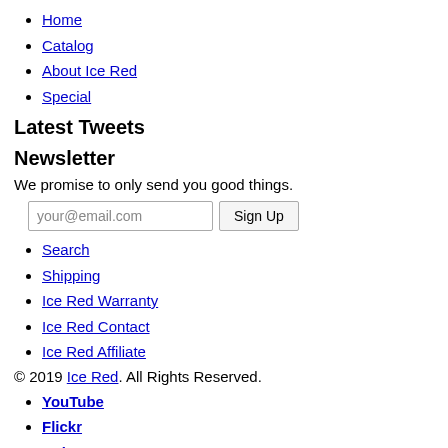Home
Catalog
About Ice Red
Special
Latest Tweets
Newsletter
We promise to only send you good things.
Search
Shipping
Ice Red Warranty
Ice Red Contact
Ice Red Affiliate
© 2019 Ice Red. All Rights Reserved.
YouTube
Flickr
Twitter
Facebook